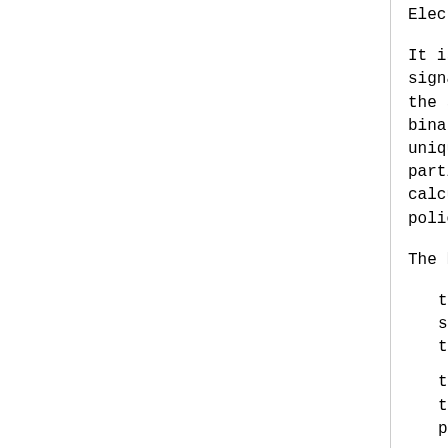Electronic Signature.
It is a mandatory requirem... signature policy value con... the specified hash algorit... binary value of the encode... unique hash value to be ca... particular file type, leng... calculated which is fixed ... policy.
The hash value may be obta...
the signer performing h... signature policy using ... the signature policy, a...
the signer, having veri... the hash algorithm and ... processable form of the...